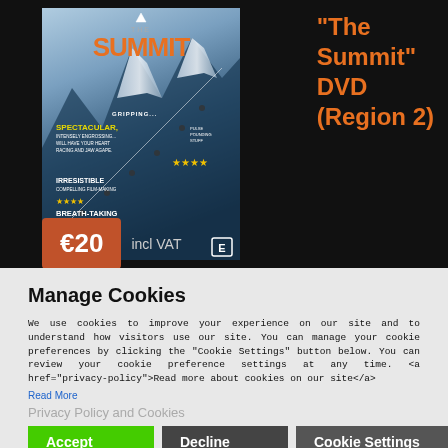[Figure (photo): DVD cover of 'The Summit' showing climbers on a snowy mountain with orange title text and review quotes]
"The Summit" DVD (Region 2)
€20 incl VAT
Manage Cookies
We use cookies to improve your experience on our site and to understand how visitors use our site. You can manage your cookie preferences by clicking the "Cookie Settings" button below. You can review your cookie preference settings at any time. <a href="privacy-policy">Read more about cookies on our site</a>
Read More
Privacy Policy and Cookies
Accept | Decline | Cookie Settings